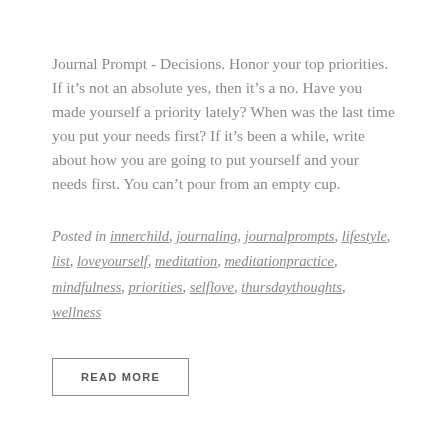Journal Prompt - Decisions. Honor your top priorities. If it's not an absolute yes, then it's a no. Have you made yourself a priority lately? When was the last time you put your needs first? If it's been a while, write about how you are going to put yourself and your needs first. You can't pour from an empty cup.
Posted in innerchild, journaling, journalprompts, lifestyle, list, loveyourself, meditation, meditationpractice, mindfulness, priorities, selflove, thursdaythoughts, wellness
READ MORE